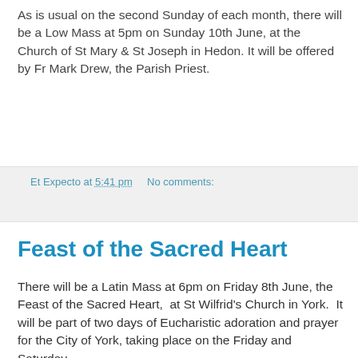As is usual on the second Sunday of each month, there will be a Low Mass at 5pm on Sunday 10th June, at the Church of St Mary & St Joseph in Hedon.  It will be offered by Fr Mark Drew, the Parish Priest.
Et Expecto at 5:41 pm    No comments:
Feast of the Sacred Heart
There will be a Latin Mass at 6pm on Friday 8th June, the Feast of the Sacred Heart,  at St Wilfrid's Church in York.  It will be part of two days of Eucharistic adoration and prayer for the City of York, taking place on the Friday and Saturday.
There will be a procession of the Blessed Sacrament around the streets of York at 9.45pm on the Friday, and adoration in the church from 8am on Friday to mid-day on Saturday.  See the parish website for details.
Last year, this was a very successful event, and attracted